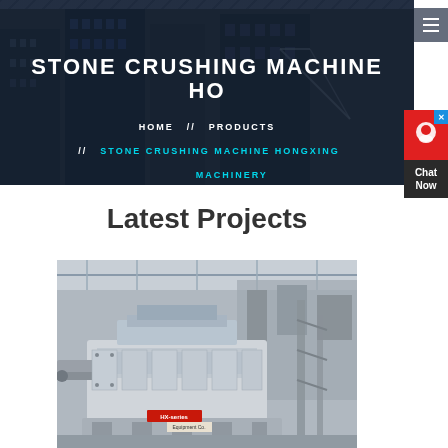STONE CRUSHING MACHINE HO
HOME // PRODUCTS // STONE CRUSHING MACHINE HONGXING MACHINERY
Latest Projects
[Figure (photo): Industrial stone crushing machine in a factory/warehouse setting, showing large mechanical equipment with conveyor belts and structural steel framework]